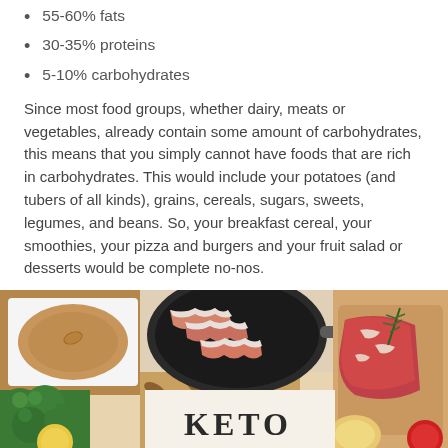55-60% fats
30-35% proteins
5-10% carbohydrates
Since most food groups, whether dairy, meats or vegetables, already contain some amount of carbohydrates, this means that you simply cannot have foods that are rich in carbohydrates. This would include your potatoes (and tubers of all kinds), grains, cereals, sugars, sweets, legumes, and beans. So, your breakfast cereal, your smoothies, your pizza and burgers and your fruit salad or desserts would be complete no-nos.
[Figure (photo): Keto diet foods including almond butter, almonds, bacon in a pan, eggs, red meat with rosemary, and broccoli with text KETO at the bottom]